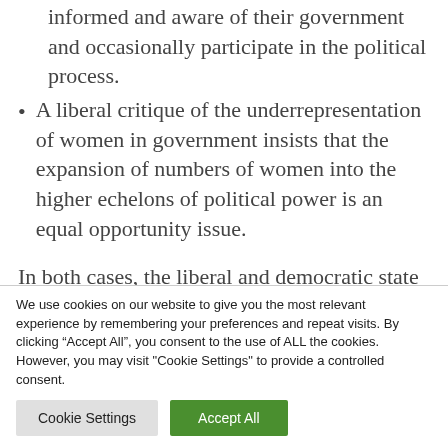informed and aware of their government and occasionally participate in the political process.
A liberal critique of the underrepresentation of women in government insists that the expansion of numbers of women into the higher echelons of political power is an equal opportunity issue.
In both cases, the liberal and democratic state collapsed in the period between the two World Wars, with the rise of the fascist and Nazi regimes.
We use cookies on our website to give you the most relevant experience by remembering your preferences and repeat visits. By clicking “Accept All”, you consent to the use of ALL the cookies. However, you may visit "Cookie Settings" to provide a controlled consent.